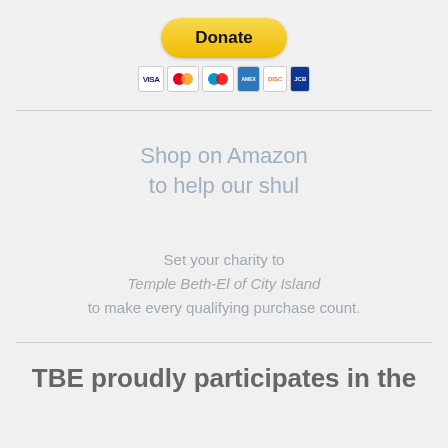[Figure (other): PayPal Donate button with credit card icons (Visa, Mastercard, Maestro, American Express, Discover, JCB)]
Shop on Amazon
to help our shul
Set your charity to
Temple Beth-El of City Island
to make every qualifying purchase count.
TBE proudly participates in the